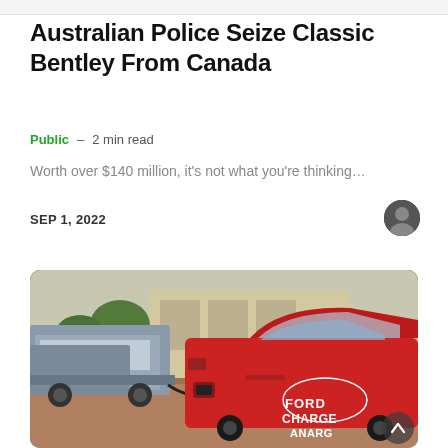Australian Police Seize Classic Bentley From Canada
Public – 2 min read
Worth over $140 million, it's not what you're thinking…
SEP 1, 2022
[Figure (photo): A red Ford vehicle with 'FORD CHARGE ANAGER' text on the door being charged via cable, with a grey pickup truck in the background in an outdoor plaza setting.]